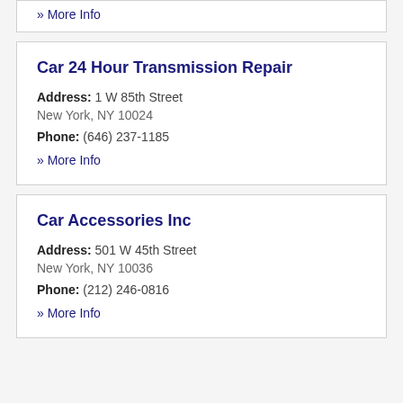» More Info
Car 24 Hour Transmission Repair
Address: 1 W 85th Street
New York, NY 10024
Phone: (646) 237-1185
» More Info
Car Accessories Inc
Address: 501 W 45th Street
New York, NY 10036
Phone: (212) 246-0816
» More Info